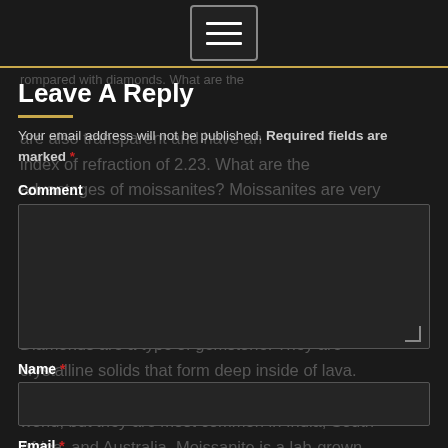[Figure (screenshot): Hamburger menu button (three horizontal lines) in a dark navigation bar with a gold bottom border]
Leave A Reply
Your email address will not be published. Required fields are marked *
Comment
(comment textarea field)
Name *
(name input field)
Email *